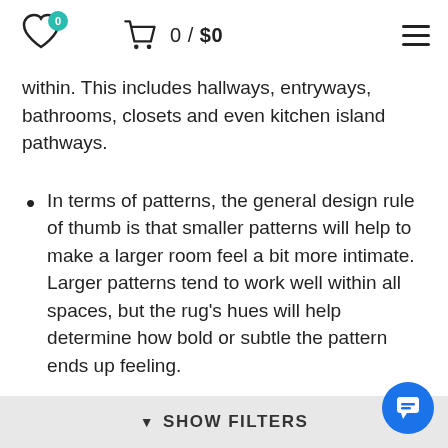0 / $0
within. This includes hallways, entryways, bathrooms, closets and even kitchen island pathways.
In terms of patterns, the general design rule of thumb is that smaller patterns will help to make a larger room feel a bit more intimate. Larger patterns tend to work well within all spaces, but the rug's hues will help determine how bold or subtle the pattern ends up feeling.
Coloration Tips For Your Perfect